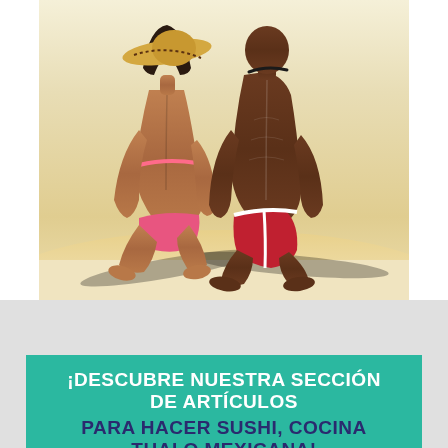[Figure (photo): Two people in swimwear sitting on a sunny beach seen from behind. The person on the left wears a pink bikini and a straw hat. The person on the right wears red/white swim trunks. Both are tanned and sitting on white sand with shadows visible.]
¡DESCUBRE NUESTRA SECCIÓN DE ARTÍCULOS PARA HACER SUSHI, COCINA THAI O MEXICANA!